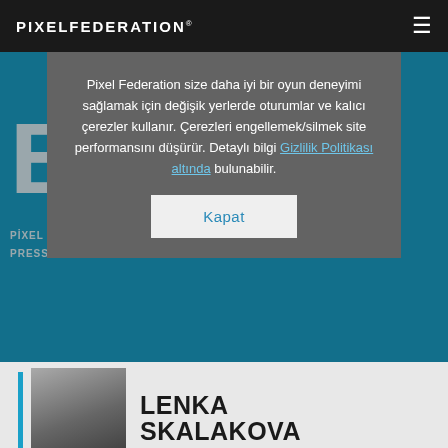PIXELFEDERATION®
Pixel Federation size daha iyi bir oyun deneyimi sağlamak için değişik yerlerde oturumlar ve kalıcı çerezler kullanır. Çerezleri engellemek/silmek site performansını düşürür. Detaylı bilgi Gizlilik Politikası altında bulunabilir.
Kapat
PIXEL GAMES | GAME DEV TALKS | PIXEL LIFE | HR RECRUIT | PRESS RELEASES
LENKA SKALAKOVA